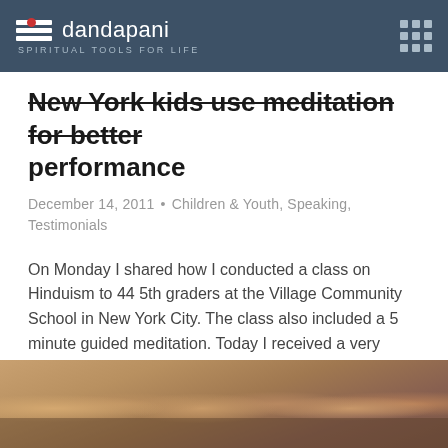dandapani — SPIRITUAL TOOLS FOR LIFE
New York kids use meditation for better performance
December 14, 2011 • Children & Youth, Speaking, Testimonials
On Monday I shared how I conducted a class on Hinduism to 44 5th graders at the Village Community School in New York City. The class also included a 5 minute guided meditation. Today I received a very sweet testimonial from the teacher sharing how the meditation had influenced the students. How i...
Read More >
[Figure (photo): Classroom photo showing students sitting together, warm-toned indoor setting]